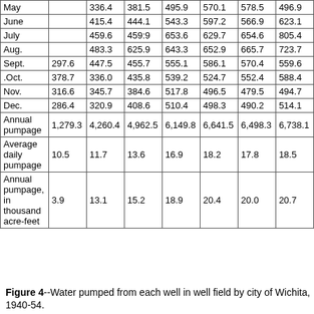|  |  |  |  |  |  |  |
| --- | --- | --- | --- | --- | --- | --- |
| May |  | 336.4 | 381.5 | 495.9 | 570.1 | 578.5 | 496.9 |
| June |  | 415.4 | 444.1 | 543.3 | 597.2 | 566.9 | 623.1 |
| July |  | 459.6 | 459:9 | 653.6 | 629.7 | 654.6 | 805.4 |
| Aug. |  | 483.3 | 625.9 | 643.3 | 652.9 | 665.7 | 723.7 |
| Sept. | 297.6 | 447.5 | 455.7 | 555.1 | 586.1 | 570.4 | 559.6 |
| .Oct. | 378.7 | 336.0 | 435.8 | 539.2 | 524.7 | 552.4 | 588.4 |
| Nov. | 316.6 | 345.7 | 384.6 | 517.8 | 496.5 | 479.5 | 494.7 |
| Dec. | 286.4 | 320.9 | 408.6 | 510.4 | 498.3 | 490.2 | 514.1 |
| Annual pumpage | 1,279.3 | 4,260.4 | 4,962.5 | 6,149.8 | 6,641.5 | 6,498.3 | 6,738.1 |
| Average daily pumpage | 10.5 | 11.7 | 13.6 | 16.9 | 18.2 | 17.8 | 18.5 |
| Annual pumpage, in thousand acre-feet | 3.9 | 13.1 | 15.2 | 18.9 | 20.4 | 20.0 | 20.7 |
Figure 4--Water pumped from each well in well field by city of Wichita, 1940-54.